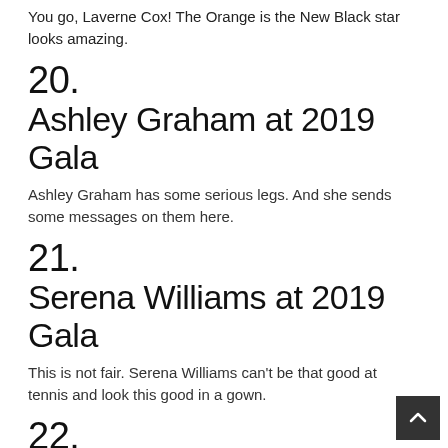You go, Laverne Cox! The Orange is the New Black star looks amazing.
20.
Ashley Graham at 2019 Gala
Ashley Graham has some serious legs. And she sends some messages on them here.
21.
Serena Williams at 2019 Gala
This is not fair. Serena Williams can't be that good at tennis and look this good in a gown.
22.
Lena Dunham at 2019 Gala
Sure, Lena Dunham. Whatever you say. You just keep